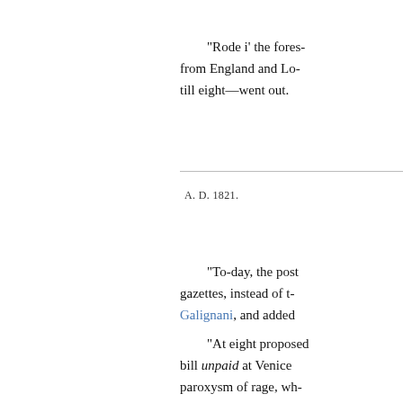“Rode i’ the fores… from England and Lo… till eight—went out.
A. D. 1821.
“To-day, the post… gazettes, instead of t… Galignani, and added…
“At eight proposed… bill unpaid at Venice… paroxysm of rage, wh… ever since. I deserve…